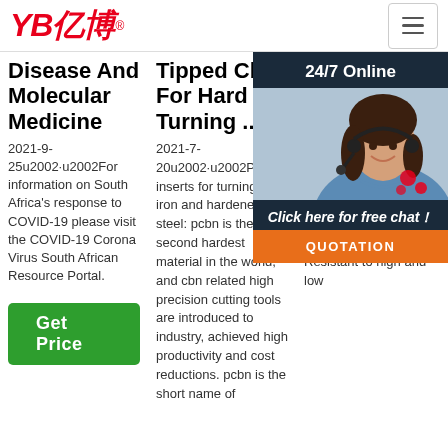YB亿博 logo and navigation
Disease And Molecular Medicine
2021-9-25u2002·u2002For information on South Africa's response to COVID-19 please visit the COVID-19 Corona Virus South African Resource Portal.
Get Price
Tipped Cbn For Hard Turning ...
2021-7-20u2002·u2002PCBN inserts for turning cast iron and hardened steel: pcbn is the second hardest material in the world, and cbn related high precision cutting tools are introduced to industry, achieved high productivity and cost reductions. pcbn is the short name of
Silicone Shisha Pipe On...
Foo Flex Hoo Tub Shi Hos She dou 008 Adv Hookah Silicone tube (1) Tasteless, non-toxic, non ontamination (Eco-friendly) (2) Resistant to high and low
[Figure (photo): Customer service agent with headset, chat overlay panel with '24/7 Online' header, 'Click here for free chat!' message, and orange QUOTATION button]